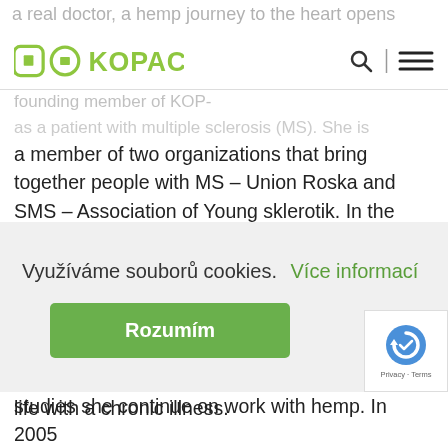a real doctor, a hemp journey to the heart opens
[Figure (logo): KOPAC logo in green with geometric icon]
founding member of KOP- as a patient with multiple sclerosis (MS). She is a member of two organizations that bring together people with MS – Union Roska and SMS – Association of Young sklerotik. In the non-profit sector has always worked as a volunteer. She was manager of the Union for Foreign relations for Roska and a member of the Executive Committee SMS. Interested in particular the rights of patients to available treatment options and improving the quality of life with a chronic illness.
Využíváme souborů cookies.
Více informací
Rozumím
studies she continue on work with hemp. In 2005